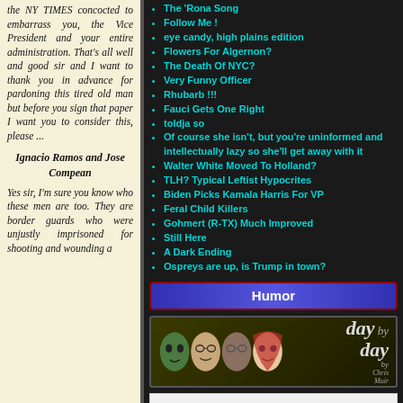the NY TIMES concocted to embarrass you, the Vice President and your entire administration. That's all well and good sir and I want to thank you in advance for pardoning this tired old man but before you sign that paper I want you to consider this, please ...
Ignacio Ramos and Jose Compean
Yes sir, I'm sure you know who these men are too. They are border guards who were unjustly imprisoned for shooting and wounding a
The 'Rona Song
Follow Me !
eye candy, high plains edition
Flowers For Algernon?
The Death Of NYC?
Very Funny Officer
Rhubarb !!!
Fauci Gets One Right
toldja so
Of course she isn't, but you're uninformed and intellectually lazy so she'll get away with it
Walter White Moved To Holland?
TLH? Typical Leftist Hypocrites
Biden Picks Kamala Harris For VP
Feral Child Killers
Gohmert (R-TX) Much Improved
Still Here
A Dark Ending
Ospreys are up, is Trump in town?
Humor
[Figure (illustration): Day by Day comic strip banner with cartoon faces and logo]
[Figure (screenshot): Day by Day website header with oval logo and hamburger menu]